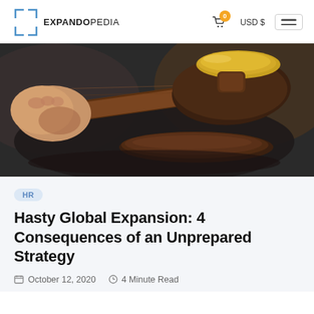EXPANDOPEDIA  🛒 0  USD $  ☰
[Figure (photo): Close-up photo of a judge's wooden gavel resting on a sound block, with a person's hand visible in the background on a dark surface.]
HR
Hasty Global Expansion: 4 Consequences of an Unprepared Strategy
October 12, 2020   4 Minute Read